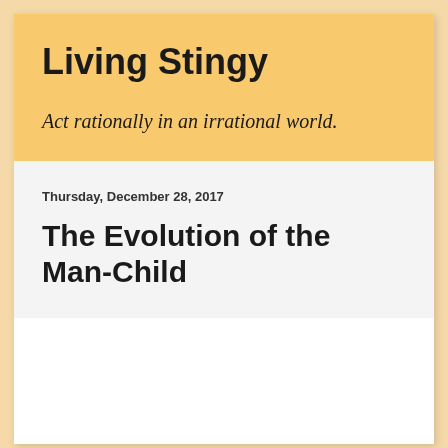Living Stingy
Act rationally in an irrational world.
Thursday, December 28, 2017
The Evolution of the Man-Child